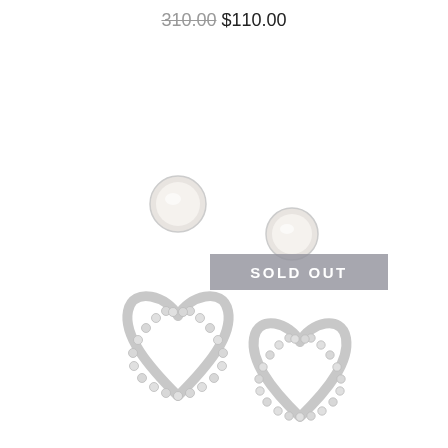310.00 $110.00
[Figure (photo): Pearl and crystal rhinestone heart-shaped drop earrings, two earrings shown side by side, each with a round white pearl stud at top and an open heart outline made of crystal rhinestones below. A 'SOLD OUT' badge overlays the center of the image.]